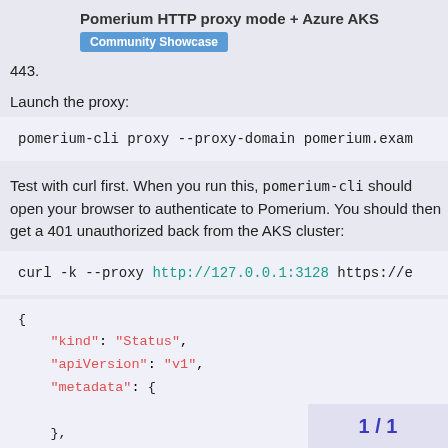Pomerium HTTP proxy mode + Azure AKS
Community Showcase
443.
Launch the proxy:
pomerium-cli proxy --proxy-domain pomerium.exam
Test with curl first. When you run this, pomerium-cli should open your browser to authenticate to Pomerium. You should then get a 401 unauthorized back from the AKS cluster:
curl -k --proxy http://127.0.0.1:3128 https://e
{
    "kind": "Status",
    "apiVersion": "v1",
    "metadata": {

    },
    "status": "Failure",
1 / 1